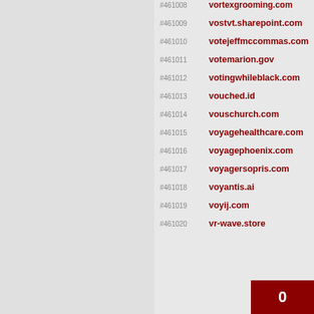#461008 vortexgrooming.com
#461009 vostvt.sharepoint.com
#461010 votejeffmccommas.com
#461011 votemarion.gov
#461012 votingwhileblack.com
#461013 vouched.id
#461014 vouschurch.com
#461015 voyagehealthcare.com
#461016 voyagephoenix.com
#461017 voyagersopris.com
#461018 voyantis.ai
#461019 voyij.com
#461020 vr-wave.store